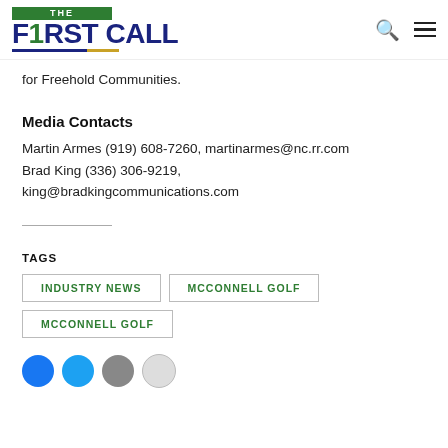THE F1RST CALL
for Freehold Communities.
Media Contacts
Martin Armes (919) 608-7260, martinarmes@nc.rr.com
Brad King (336) 306-9219, king@bradkingcommunications.com
TAGS   INDUSTRY NEWS   MCCONNELL GOLF   MCCONNELL GOLF